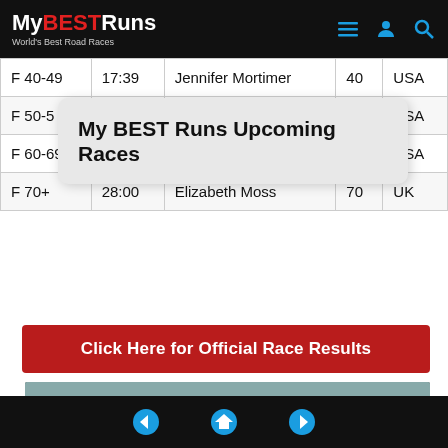MyBESTRuns - World's Best Road Races
| Category | Time | Name | Age | Country |
| --- | --- | --- | --- | --- |
| F 40-49 | 17:39 | Jennifer Mortimer | 40 | USA |
| F 50-5 |  |  | 50 | USA |
| F 60-69 | 21:48 | K K Musante | 65 | USA |
| F 70+ | 28:00 | Elizabeth Moss | 70 | UK |
My BEST Runs Upcoming Races
Click Here for Official Race Results
[Figure (photo): Elite female runners racing in the B.A.A. 5K in Boston. Runners visible include TESFAY and DIRIBA with race bibs. They are running on a city street with spectators.]
Navigation: previous, home, next